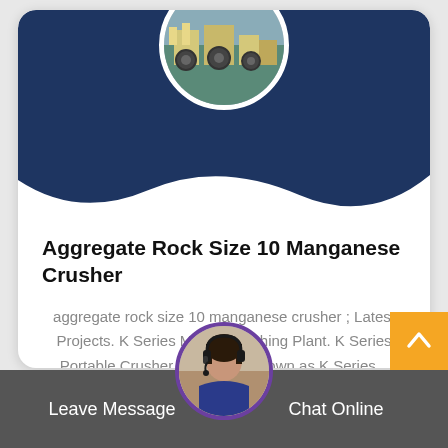[Figure (photo): Circular photo of industrial crushing/mining equipment in a factory setting, shown at the top of a card with dark navy background]
Aggregate Rock Size 10 Manganese Crusher
aggregate rock size 10 manganese crusher ; Latest Projects. K Series Mobile Crushing Plant. K Series Portable Crusher Plant, also known as K Series...
[Figure (photo): Circular avatar of a woman wearing a headset, shown at the bottom center as a customer support representative]
Leave Message
Chat Online